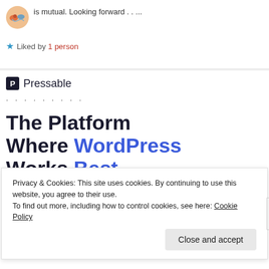is mutual. Looking forward . . ...
★ Liked by 1 person
Pressable
. . . . . . . . .
The Platform Where WordPress Works Best
SEE PRICING
Privacy & Cookies: This site uses cookies. By continuing to use this website, you agree to their use.
To find out more, including how to control cookies, see here: Cookie Policy
Close and accept